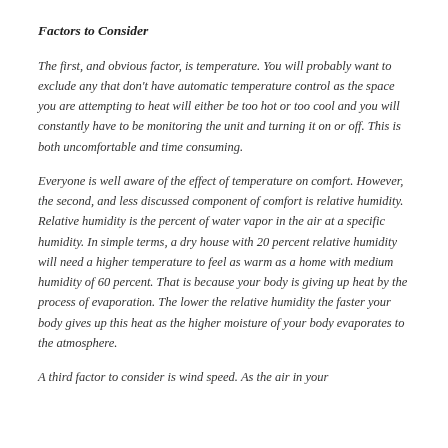Factors to Consider
The first, and obvious factor, is temperature.  You will probably want to exclude any that don't have automatic temperature control as the space you are attempting to heat will either be too hot or too cool and you will constantly have to be monitoring the unit and turning it on or off.  This is both uncomfortable and time consuming.
Everyone is well aware of the effect of temperature on comfort.  However, the second, and less discussed component of comfort is relative humidity.  Relative humidity is the percent of water vapor in the air at a specific humidity.  In simple terms, a dry house with 20 percent relative humidity will need a higher temperature to feel as warm as a home with medium humidity of 60 percent.  That is because your body is giving up heat by the process of evaporation.  The lower the relative humidity the faster your body gives up this heat as the higher moisture of your body evaporates to the atmosphere.
A third factor to consider is wind speed.  As the air in your